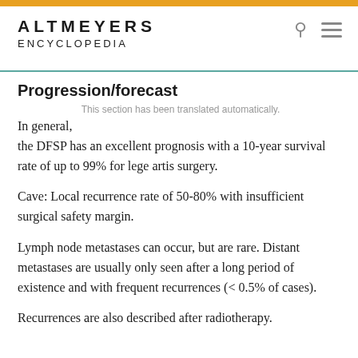ALTMEYERS ENCYCLOPEDIA
Progression/forecast
This section has been translated automatically.
In general, the DFSP has an excellent prognosis with a 10-year survival rate of up to 99% for lege artis surgery.
Cave: Local recurrence rate of 50-80% with insufficient surgical safety margin.
Lymph node metastases can occur, but are rare. Distant metastases are usually only seen after a long period of existence and with frequent recurrences (< 0.5% of cases).
Recurrences are also described after radiotherapy.